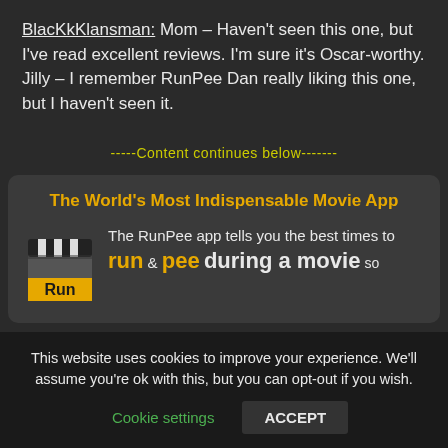BlacKkKlansman: Mom – Haven't seen this one, but I've read excellent reviews. I'm sure it's Oscar-worthy. Jilly – I remember RunPee Dan really liking this one, but I haven't seen it.
-----Content continues below-------
The World's Most Indispensable Movie App
[Figure (logo): RunPee app clapperboard logo with black and white clapperboard top and yellow 'Run' text on bottom]
The RunPee app tells you the best times to run & pee during a movie so
This website uses cookies to improve your experience. We'll assume you're ok with this, but you can opt-out if you wish.
Cookie settings   ACCEPT